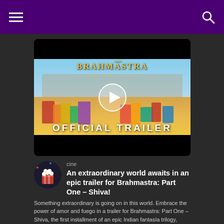Navigation bar with hamburger menu and search icon
[Figure (screenshot): Brahmastra Part One Shiva official trailer video thumbnail with play button overlay showing crowds at a festival setting with the text OFFICIAL TRAILER]
cine
An extraordinary world awaits in an epic trailer for Brahmastra: Part One – Shiva!
Something extraordinary is going on in this world. Embrace the power of amor and fuego in a trailer for Brahmastra: Part One – Shiva, the first installment of an epic Indian fantasía trilogy, added por rakshasa! The film